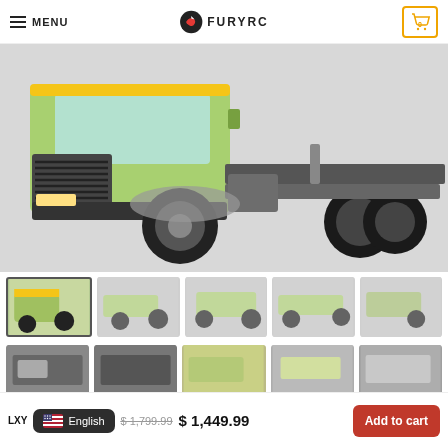MENU | FURYRC | Cart 0
[Figure (photo): Close-up photo of a light green RC truck model (Mercedes-Benz style), showing front grille, bumper, wheels and chassis detail on a light grey background.]
[Figure (photo): Row of 5 thumbnail images of the RC truck model from various angles, first is active/selected]
[Figure (photo): Second row of 5 partial thumbnail images of the RC truck model from various angles]
LXY
English
$ 1,799.99
$ 1,449.99
Add to cart